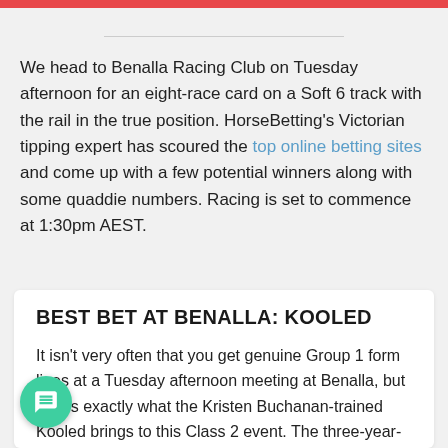We head to Benalla Racing Club on Tuesday afternoon for an eight-race card on a Soft 6 track with the rail in the true position. HorseBetting's Victorian tipping expert has scoured the top online betting sites and come up with a few potential winners along with some quaddie numbers. Racing is set to commence at 1:30pm AEST.
BEST BET AT BENALLA: KOOLED
It isn't very often that you get genuine Group 1 form lines at a Tuesday afternoon meeting at Benalla, but that is exactly what the Kristen Buchanan-trained Kooled brings to this Class 2 event. The three-year-old gelding managed beat home subsequent Vinery Stud Stakes winner ngirl on September 8 in a maiden event at Gosford over 1200m. He then chased home subsequent Typhoon